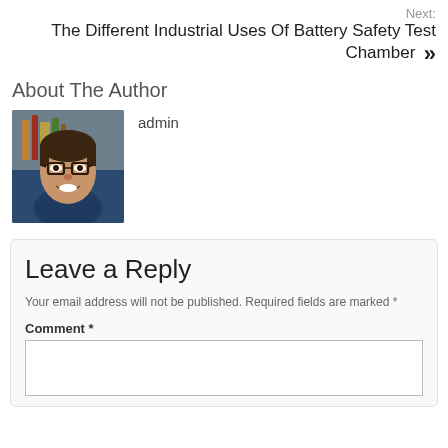Next: The Different Industrial Uses Of Battery Safety Test Chamber »
About The Author
[Figure (photo): Headshot of a smiling man with glasses and dark hair wearing a blue shirt, in front of bookshelves]
admin
Leave a Reply
Your email address will not be published. Required fields are marked *
Comment *